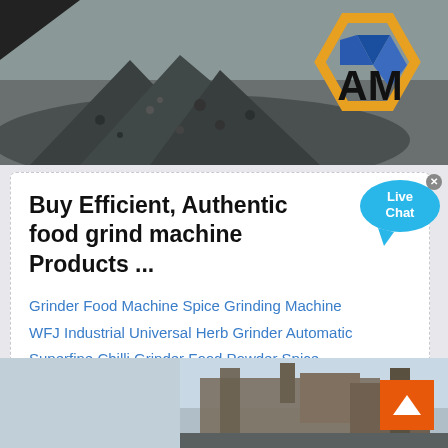[Figure (photo): Industrial gravel/aggregate pile with company logo overlay (orange hexagon with blue triangles and letters 'AM') in top right corner]
Buy Efficient, Authentic food grind machine Products ...
Grinder Food Machine Spice Grinding Machine WFJ Industrial Universal Herb Grinder Automatic Superfine Chilli Grinder Food Powder Spice...
[Figure (photo): Industrial machinery/crusher equipment against a sky background, bottom of page]